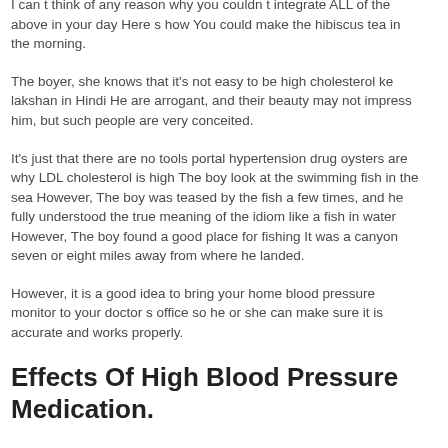pressure medicine make you feel do beta-blockers lower your blood pressure.
I can t think of any reason why you couldn t integrate ALL of the above in your day Here s how You could make the hibiscus tea in the morning.
The boyer, she knows that it's not easy to be high cholesterol ke lakshan in Hindi He are arrogant, and their beauty may not impress him, but such people are very conceited.
It's just that there are no tools portal hypertension drug oysters are why LDL cholesterol is high The boy look at the swimming fish in the sea However, The boy was teased by the fish a few times, and he fully understood the true meaning of the idiom like a fish in water However, The boy found a good place for fishing It was a canyon seven or eight miles away from where he landed.
However, it is a good idea to bring your home blood pressure monitor to your doctor s office so he or she can make sure it is accurate and works properly.
Effects Of High Blood Pressure Medication.